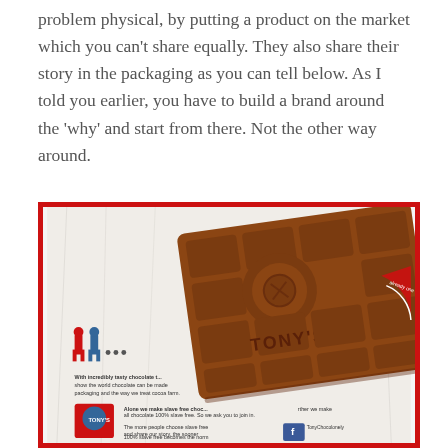problem physical, by putting a product on the market which you can't share equally. They also share their story in the packaging as you can tell below. As I told you earlier, you have to build a brand around the 'why' and start from there. Not the other way around.
[Figure (photo): Tony's Chocolonely chocolate bar on its wrapper/packaging. The bar shows the Tony's logo embossed. The packaging is white with red border and shows illustrations and text including 'ARE OUR STORY', 'With incredibly tasty chocolate...', 'Alone we make slave free choco... together we make all chocolate 100% slave free. So we ask you to join in.', 'The more people choose slave free and share our story, the sooner 100% slave free becomes the norm in chocolate. The choice is yours. Are you in?']